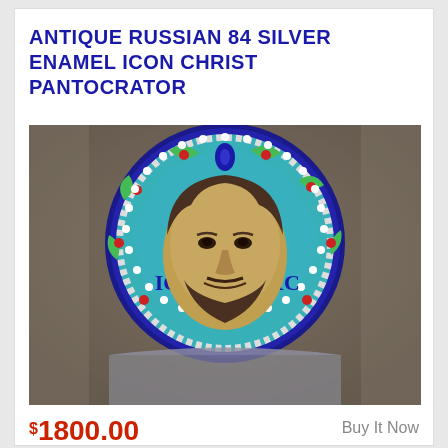ANTIQUE RUSSIAN 84 SILVER ENAMEL ICON CHRIST PANTOCRATOR
[Figure (photo): Photograph of an antique Russian Orthodox icon depicting Christ Pantocrator with an elaborate silver and enamel halo featuring blue, teal, green, and red cloisonné enamel work with white pearl-like beading around the edge. The face of Christ is painted in traditional Byzantine style with brown hair and beard.]
$1800.00
Buy It Now